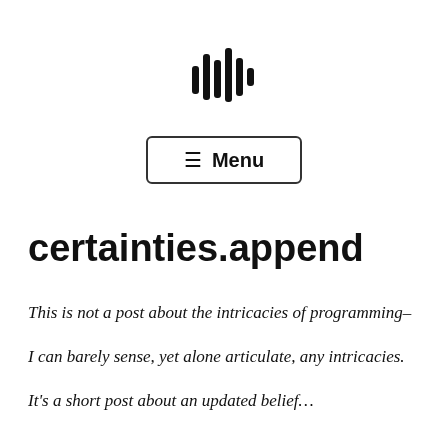[Figure (logo): Audio waveform / sound bars logo icon centered at top of page]
≡ Menu
certainties.append
This is not a post about the intricacies of programming– I can barely sense, yet alone articulate, any intricacies. It's a short post about an updated belief…